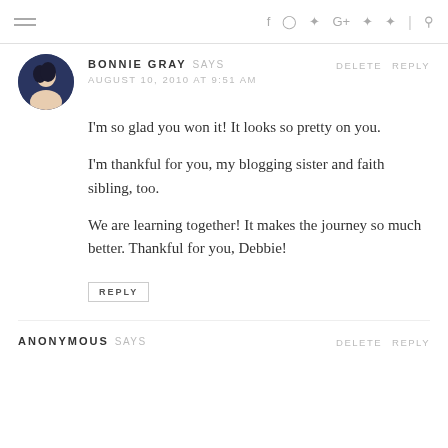Navigation bar with hamburger menu and social icons: f, instagram, twitter, G+, pinterest, rss, search
BONNIE GRAY SAYS
AUGUST 10, 2010 AT 9:51 AM
DELETE REPLY
I'm so glad you won it! It looks so pretty on you.
I'm thankful for you, my blogging sister and faith sibling, too.
We are learning together! It makes the journey so much better. Thankful for you, Debbie!
REPLY
ANONYMOUS SAYS
DELETE REPLY